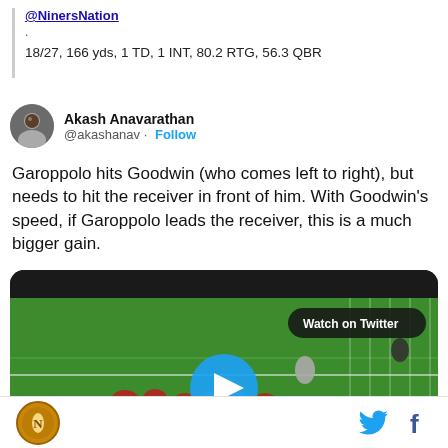@NinersNation
.
18/27, 166 yds, 1 TD, 1 INT, 80.2 RTG, 56.3 QBR
Akash Anavarathan @akashanav · Follow
Garoppolo hits Goodwin (who comes left to right), but needs to hit the receiver in front of him. With Goodwin's speed, if Garoppolo leads the receiver, this is a much bigger gain.
[Figure (screenshot): Video thumbnail of a football play on a green field with a blue play button in the center and a 'Watch on Twitter' badge in the top right]
[Figure (logo): Niners Nation logo - circular gold and black emblem in the footer]
[Figure (logo): Twitter bird icon and Facebook f icon in the footer]